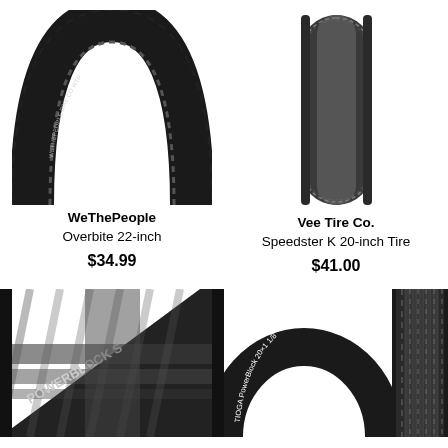[Figure (photo): WeThePeople Overbite 22-inch BMX tire shown as a black horseshoe/arch shape with square tread pattern, white brand text on sidewall]
WeThePeople
Overbite 22-inch
$34.99
[Figure (photo): Vee Tire Co. Speedster K 20-inch tire shown upright as a vertical strip with fine knurled tread, gray/black coloring]
Vee Tire Co.
Speedster K 20-inch Tire
$41.00
[Figure (photo): Tioga PowerBlock S BMX tire close-up showing tread detail with 'POWERBLOCK S' text on sidewall, black with gray/silver tread blocks]
[Figure (photo): Tioga PowerBlock 20x1 1/8 tire shown from the side with brand text on sidewall next to a close-up detail strip of the tread]